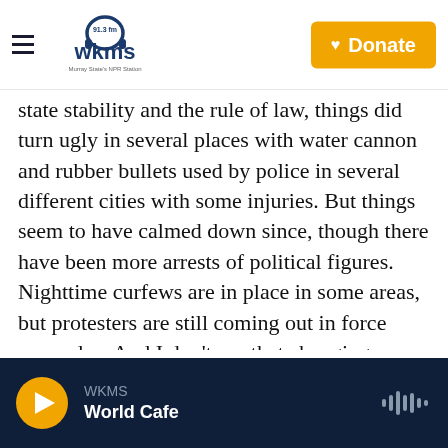WKMS 91.3 FM — Murray State's NPR Station | Donate
state stability and the rule of law, things did turn ugly in several places with water cannon and rubber bullets used by police in several different cities with some injuries. But things seem to have calmed down since, though there have been more arrests of political figures. Nighttime curfews are in place in some areas, but protesters are still coming out in force every day. And I don't see that changing unless the military shuts it down forcibly. And that's the big fear. It's happened before.
PFEIFFER: That's reporter Michael Sullivan.
WKMS World Cafe